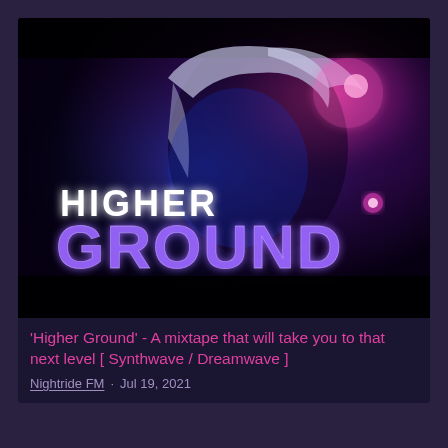[Figure (photo): Dark atmospheric thumbnail image of a woman with silver/white hair lit by blue and pink/purple lighting, with large glowing text 'HIGHER GROUND' overlaid — 'HIGHER' in smaller white futuristic font, 'GROUND' in large bold purple/blue futuristic font. Synthwave aesthetic.]
'Higher Ground' - A mixtape that will take you to that next level [ Synthwave / Dreamwave ]
Nightride FM · Jul 19, 2021